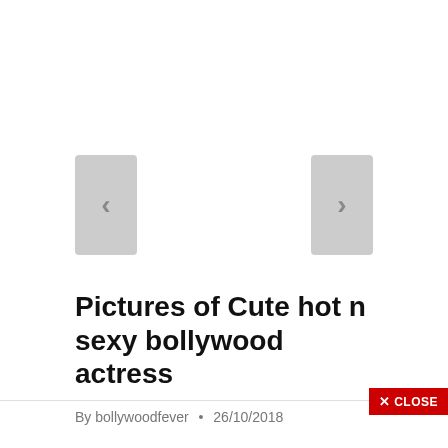[Figure (other): Left navigation arrow button (grey rectangle with < chevron)]
[Figure (other): Right navigation arrow button (grey rectangle with > chevron)]
Pictures of Cute hot n sexy bollywood actress
By bollywoodfever • 26/10/2018
[Figure (other): Red CLOSE button with X icon in bottom-right corner]